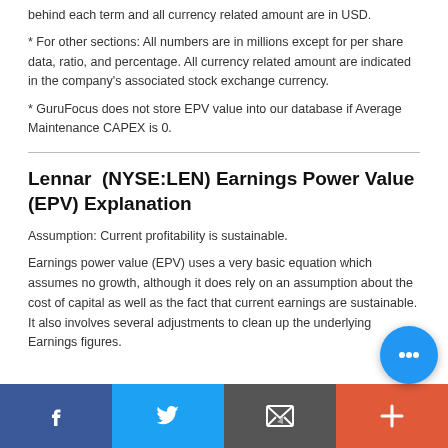behind each term and all currency related amount are in USD.
* For other sections: All numbers are in millions except for per share data, ratio, and percentage. All currency related amount are indicated in the company's associated stock exchange currency.
* GuruFocus does not store EPV value into our database if Average Maintenance CAPEX is 0.
Lennar  (NYSE:LEN) Earnings Power Value (EPV) Explanation
Assumption: Current profitability is sustainable.
Earnings power value (EPV) uses a very basic equation which assumes no growth, although it does rely on an assumption about the cost of capital as well as the fact that current earnings are sustainable. It also involves several adjustments to clean up the underlying Earnings figures.